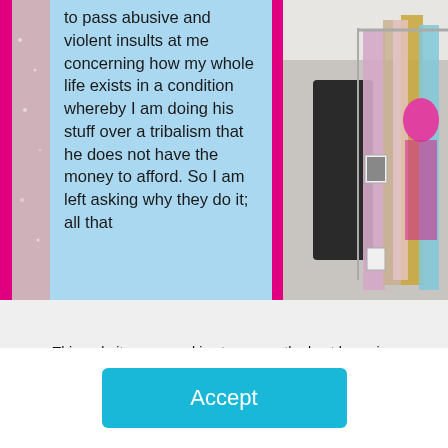[Figure (photo): Left strip showing edge of sparkly/beaded garment with hot pink border, center light blue column with article text overlay, right side showing fashion backstage with sequined dresses on rack and person with pink hair]
to pass abusive and violent insults at me concerning how my whole life exists in a condition whereby I am doing his stuff over a tribalism that he does not have the money to afford. So I am left asking why they do it; all that
This website uses cookies to ensure the best browsing experience. You may change your cookie preferences in your browser or device settings. Learn More How To Delete Cookies
Accept